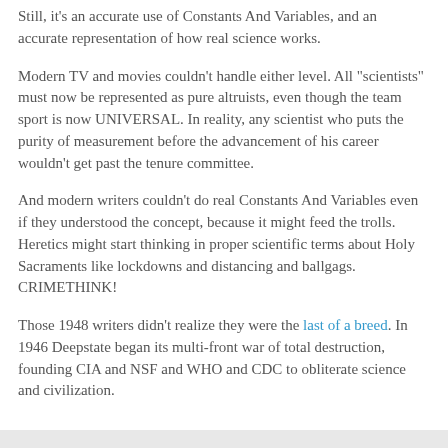Still, it's an accurate use of Constants And Variables, and an accurate representation of how real science works.
Modern TV and movies couldn't handle either level. All "scientists" must now be represented as pure altruists, even though the team sport is now UNIVERSAL. In reality, any scientist who puts the purity of measurement before the advancement of his career wouldn't get past the tenure committee.
And modern writers couldn't do real Constants And Variables even if they understood the concept, because it might feed the trolls. Heretics might start thinking in proper scientific terms about Holy Sacraments like lockdowns and distancing and ballgags. CRIMETHINK!
Those 1948 writers didn't realize they were the last of a breed. In 1946 Deepstate began its multi-front war of total destruction, founding CIA and NSF and WHO and CDC to obliterate science and civilization.